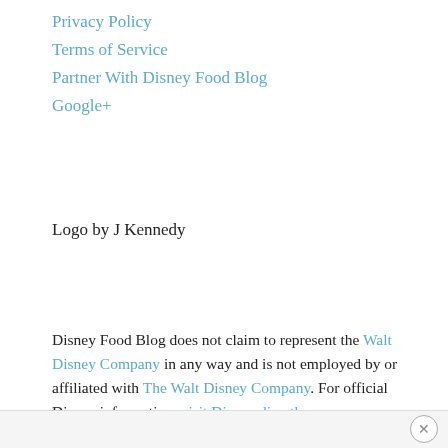Privacy Policy
Terms of Service
Partner With Disney Food Blog
Google+
Logo by J Kennedy
Disney Food Blog does not claim to represent the Walt Disney Company in any way and is not employed by or affiliated with The Walt Disney Company. For official Disney information, visit Disney directly.